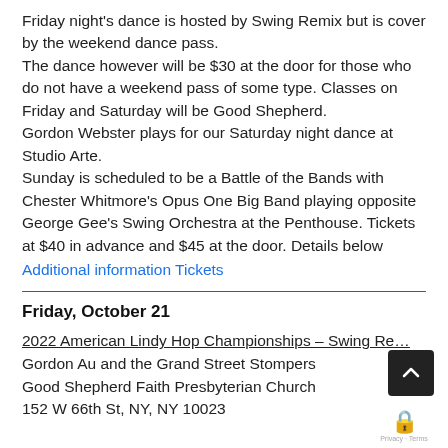Friday night's dance is hosted by Swing Remix but is cover by the weekend dance pass.
The dance however will be $30 at the door for those who do not have a weekend pass of some type. Classes on Friday and Saturday will be Good Shepherd.
Gordon Webster plays for our Saturday night dance at Studio Arte.
Sunday is scheduled to be a Battle of the Bands with Chester Whitmore's Opus One Big Band playing opposite George Gee's Swing Orchestra at the Penthouse. Tickets at $40 in advance and $45 at the door. Details below
Additional information Tickets
Friday, October 21
2022 American Lindy Hop Championships – Swing Re…
Gordon Au and the Grand Street Stompers
Good Shepherd Faith Presbyterian Church
152 W 66th St, NY, NY 10023